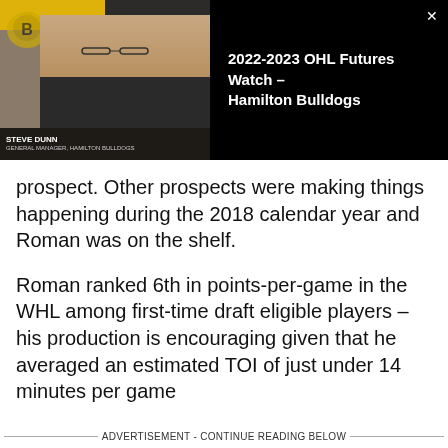[Figure (screenshot): Video thumbnail showing a man wearing glasses seated in front of a Hamilton Bulldogs backdrop with yellow and black colors. Lower third shows name 'STEVE DUNN' with a title. Right side shows black panel with title '2022-2023 OHL Futures Watch – Hamilton Bulldogs' and a close (x) button.]
prospect. Other prospects were making things happening during the 2018 calendar year and Roman was on the shelf.
Roman ranked 6th in points-per-game in the WHL among first-time draft eligible players – his production is encouraging given that he averaged an estimated TOI of just under 14 minutes per game
ADVERTISEMENT - CONTINUE READING BELOW